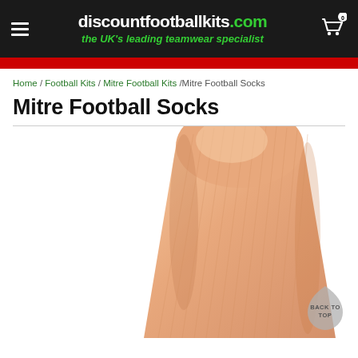discountfootballkits.com — the UK's leading teamwear specialist
Home / Football Kits /Mitre Football Kits /Mitre Football Socks
Mitre Football Socks
[Figure (photo): A peach/skin-coloured Mitre football sock shown on a white background, displaying the tube/leg portion of the sock from a diagonal angle.]